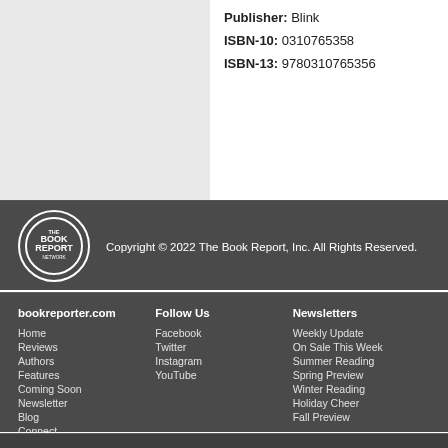Publisher: Blink
ISBN-10: 0310765358
ISBN-13: 9780310765356
Copyright © 2022 The Book Report, Inc. All Rights Reserved.
bookreporter.com
Home
Reviews
Authors
Features
Coming Soon
Newsletter
Blog
Connect
Follow Us
Facebook
Twitter
Instagram
YouTube
Newsletters
Weekly Update
On Sale This Week
Summer Reading
Spring Preview
Winter Reading
Holiday Cheer
Fall Preview